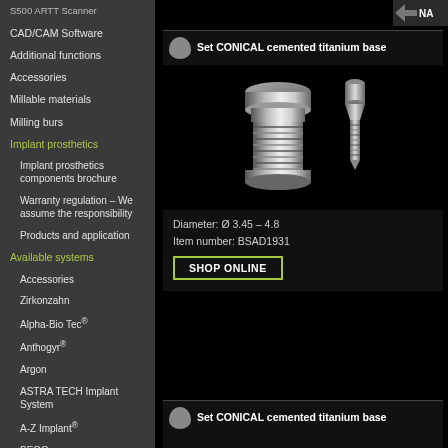S500 ARTT Scanner
CAD/CAM Software
Additional functions
Accessories
Millable materials
Milling burs
Implant prosthetics
Implant prosthetics components brochure
Warranty regulation – We assume the responsibility
Products and application
Available systems
Accessories
Zirkonzahn
Alpha-Bio Tec®
Anthogyr®
Argon
ASTRA TECH Implant System
A-Z Implant®
BEGO
BioHorizons®
Biomet 3i™
Biotech Dental
Set CONICAL cemented titanium base
[Figure (photo): Two titanium dental implant components: a threaded abutment base and a small screw, photographed on black background]
Diameter: Ø 3.45 – 4.8
Item number: BSAD1931
SHOP ONLINE
Set CONICAL cemented titanium base